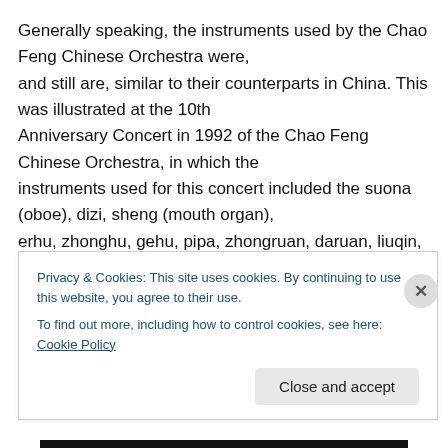Generally speaking, the instruments used by the Chao Feng Chinese Orchestra were, and still are, similar to their counterparts in China. This was illustrated at the 10th Anniversary Concert in 1992 of the Chao Feng Chinese Orchestra, in which the instruments used for this concert included the suona (oboe), dizi, sheng (mouth organ), erhu, zhonghu, gehu, pipa, zhongruan, daruan, liuqin, yangqin, a Western double bass, plus various Chinese percussion instruments.
Privacy & Cookies: This site uses cookies. By continuing to use this website, you agree to their use.
To find out more, including how to control cookies, see here: Cookie Policy